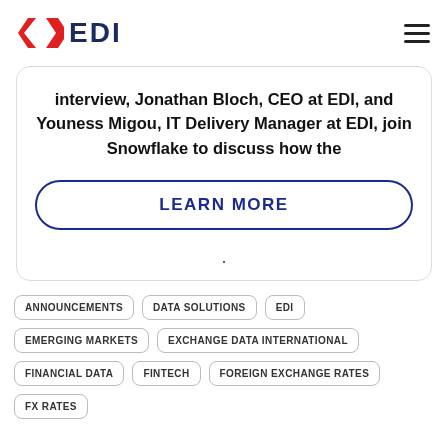[Figure (logo): EDI logo with red diamond/chevron icon and dark blue EDI text, hamburger menu icon on right]
interview, Jonathan Bloch, CEO at EDI, and Youness Migou, IT Delivery Manager at EDI, join Snowflake to discuss how the
LEARN MORE
.
ANNOUNCEMENTS
DATA SOLUTIONS
EDI
EMERGING MARKETS
EXCHANGE DATA INTERNATIONAL
FINANCIAL DATA
FINTECH
FOREIGN EXCHANGE RATES
FX RATES